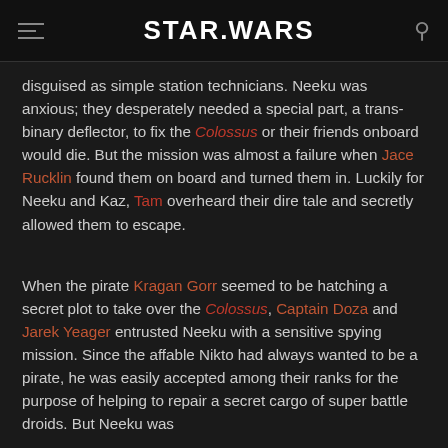STAR WARS
disguised as simple station technicians. Neeku was anxious; they desperately needed a special part, a trans-binary deflector, to fix the Colossus or their friends onboard would die. But the mission was almost a failure when Jace Rucklin found them on board and turned them in. Luckily for Neeku and Kaz, Tam overheard their dire tale and secretly allowed them to escape.
When the pirate Kragan Gorr seemed to be hatching a secret plot to take over the Colossus, Captain Doza and Jarek Yeager entrusted Neeku with a sensitive spying mission. Since the affable Nikto had always wanted to be a pirate, he was easily accepted among their ranks for the purpose of helping to repair a secret cargo of super battle droids. But Neeku was